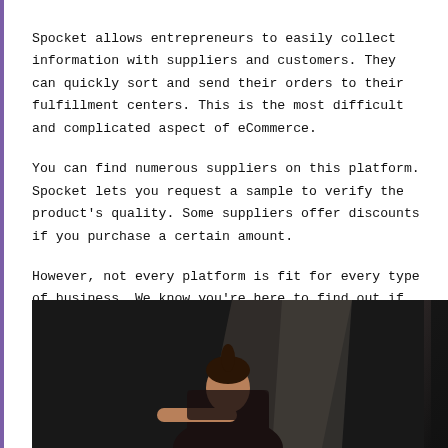Spocket allows entrepreneurs to easily collect information with suppliers and customers. They can quickly sort and send their orders to their fulfillment centers. This is the most difficult and complicated aspect of eCommerce.
You can find numerous suppliers on this platform. Spocket lets you request a sample to verify the product's quality. Some suppliers offer discounts if you purchase a certain amount.
However, not every platform is fit for every type of business. We know you're here to find out if it's right for you. To help you, let's look into the key areas Spocket helps your business in the next section.
[Figure (photo): A person (woman with hair in a ponytail) leaning over, photographed in low light with a diagonal light beam/panel visible in the background.]